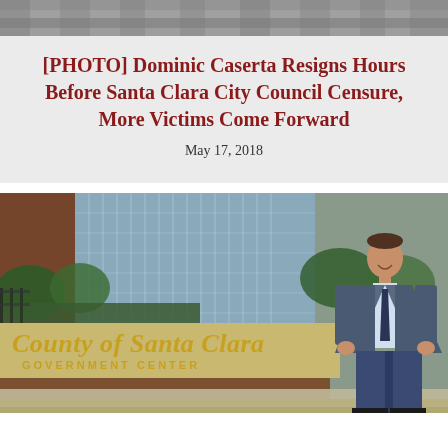[Figure (photo): Top banner image showing blurred/gray horizontal bands, likely a cropped top of a building or header image.]
[PHOTO] Dominic Caserta Resigns Hours Before Santa Clara City Council Censure, More Victims Come Forward
May 17, 2018
[Figure (photo): Photo of a man in a blue suit and jeans standing in front of a 'County of Santa Clara Government Center' sign with a glass office building in the background.]